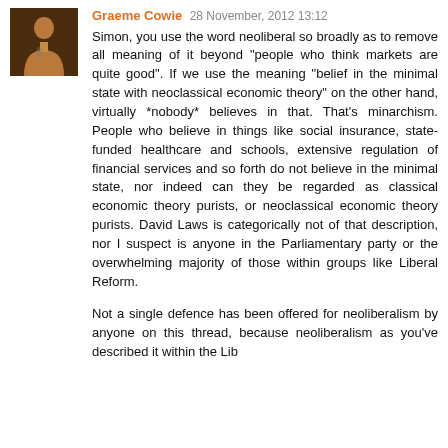Graeme Cowie 28 November, 2012 13:12
Simon, you use the word neoliberal so broadly as to remove all meaning of it beyond "people who think markets are quite good". If we use the meaning "belief in the minimal state with neoclassical economic theory" on the other hand, virtually *nobody* believes in that. That's minarchism. People who believe in things like social insurance, state-funded healthcare and schools, extensive regulation of financial services and so forth do not believe in the minimal state, nor indeed can they be regarded as classical economic theory purists, or neoclassical economic theory purists. David Laws is categorically not of that description, nor I suspect is anyone in the Parliamentary party or the overwhelming majority of those within groups like Liberal Reform.
Not a single defence has been offered for neoliberalism by anyone on this thread, because neoliberalism as you've described it within the Lib Dem context is, to put it charitably, a very broad...